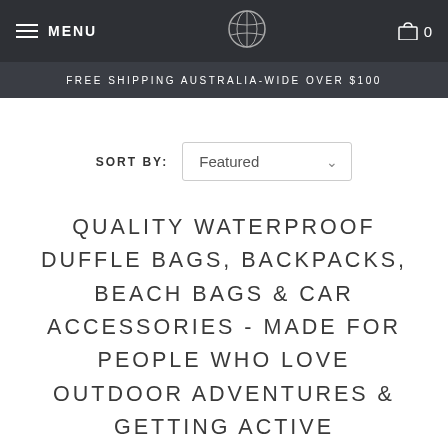MENU  [logo]  0
FREE SHIPPING AUSTRALIA-WIDE OVER $100
SORT BY: Featured
QUALITY WATERPROOF DUFFLE BAGS, BACKPACKS, BEACH BAGS & CAR ACCESSORIES - MADE FOR PEOPLE WHO LOVE OUTDOOR ADVENTURES & GETTING ACTIVE